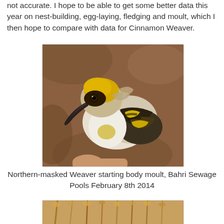not accurate. I hope to be able to get some better data this year on nest-building, egg-laying, fledging and moult, which I then hope to compare with data for Cinnamon Weaver.
[Figure (photo): Close-up photograph of a Northern-masked Weaver bird starting body moult, held in hand, showing yellow and brown plumage with a curved beak, at Bahri Sewage Pools February 8th 2014.]
Northern-masked Weaver starting body moult, Bahri Sewage Pools February 8th 2014
[Figure (photo): Partial photo of a bird or grass/reeds, cropped at bottom of page.]